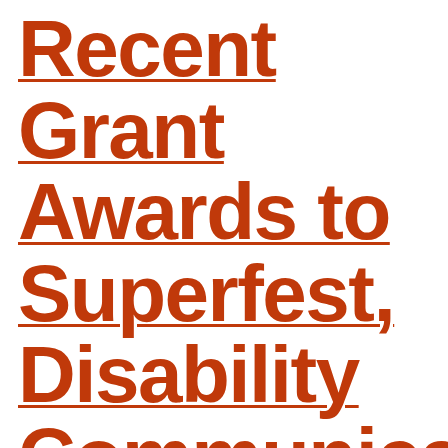Recent Grant Awards to Superfest, Disability Communications Fund